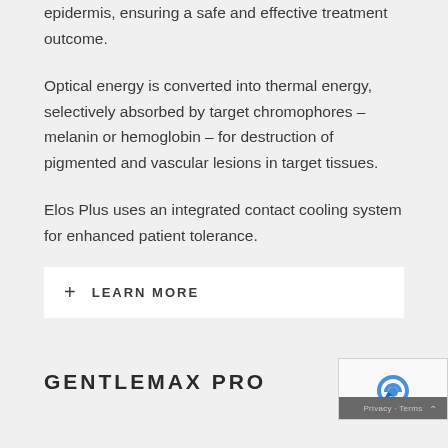epidermis, ensuring a safe and effective treatment outcome.
Optical energy is converted into thermal energy, selectively absorbed by target chromophores – melanin or hemoglobin – for destruction of pigmented and vascular lesions in target tissues.
Elos Plus uses an integrated contact cooling system for enhanced patient tolerance.
+ LEARN MORE
GENTLEMAX PRO